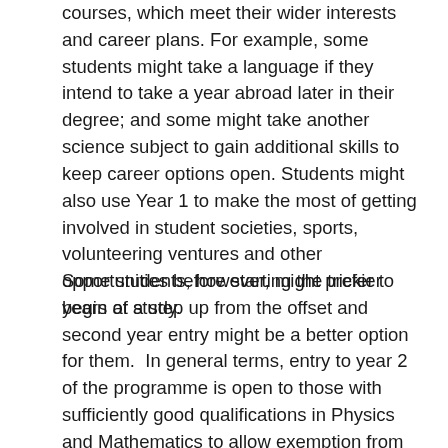courses, which meet their wider interests and career plans. For example, some students might take a language if they intend to take a year abroad later in their degree; and some might take another science subject to gain additional skills to keep career options open. Students might also use Year 1 to make the most of getting involved in student societies, sports, volunteering ventures and other opportunities before starting the trickier years of study.
Some students, however, might prefer to begin at a step up from the offset and second year entry might be a better option for them.  In general terms, entry to year 2 of the programme is open to those with sufficiently good qualifications in Physics and Mathematics to allow exemption from introductory level courses in both subjects.